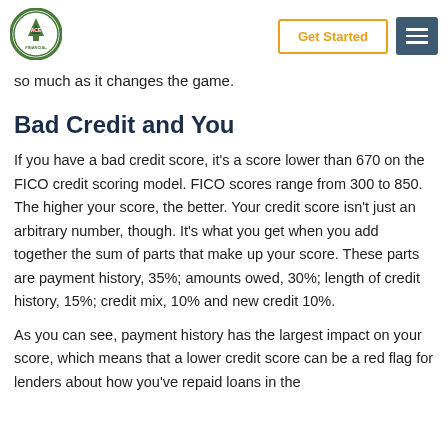Get Started | Menu
so much as it changes the game.
Bad Credit and You
If you have a bad credit score, it's a score lower than 670 on the FICO credit scoring model. FICO scores range from 300 to 850. The higher your score, the better. Your credit score isn't just an arbitrary number, though. It's what you get when you add together the sum of parts that make up your score. These parts are payment history, 35%; amounts owed, 30%; length of credit history, 15%; credit mix, 10% and new credit 10%.
As you can see, payment history has the largest impact on your score, which means that a lower credit score can be a red flag for lenders about how you've repaid loans in the